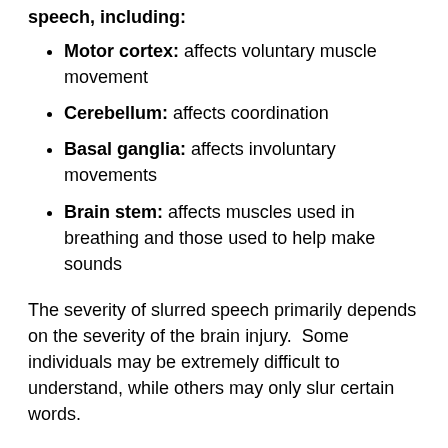speech, including:
Motor cortex: affects voluntary muscle movement
Cerebellum: affects coordination
Basal ganglia: affects involuntary movements
Brain stem: affects muscles used in breathing and those used to help make sounds
The severity of slurred speech primarily depends on the severity of the brain injury.  Some individuals may be extremely difficult to understand, while others may only slur certain words.
Dysarthria is a separate condition from aphasia, which is a language disorder that involves difficulty understanding and/or expressing language, and may also